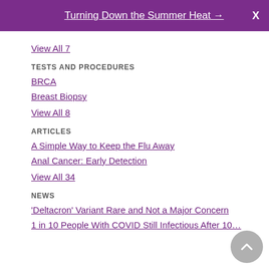Turning Down the Summer Heat →   X
View All 7
TESTS AND PROCEDURES
BRCA
Breast Biopsy
View All 8
ARTICLES
A Simple Way to Keep the Flu Away
Anal Cancer: Early Detection
View All 34
NEWS
'Deltacron' Variant Rare and Not a Major Concern
1 in 10 People With COVID Still Infectious After 10…